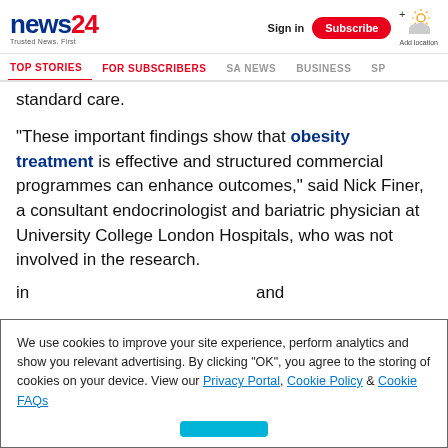news24 Trusted News. First | Sign in | Subscribe | Add location
TOP STORIES | FOR SUBSCRIBERS | SA NEWS | BUSINESS | SP...
standard care.
"These important findings show that obesity treatment is effective and structured commercial programmes can enhance outcomes," said Nick Finer, a consultant endocrinologist and bariatric physician at University College London Hospitals, who was not involved in the research.
We use cookies to improve your site experience, perform analytics and show you relevant advertising. By clicking "OK", you agree to the storing of cookies on your device. View our Privacy Portal, Cookie Policy & Cookie FAQs